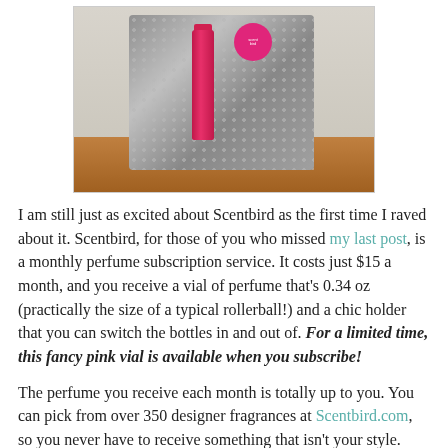[Figure (photo): A silver/metallic bubble wrap mailer envelope standing upright on a wooden table surface, with a pink Scentbird sticker/seal on it, and a pink perfume vial/rollerball standing in front of it.]
I am still just as excited about Scentbird as the first time I raved about it. Scentbird, for those of you who missed my last post, is a monthly perfume subscription service. It costs just $15 a month, and you receive a vial of perfume that's 0.34 oz (practically the size of a typical rollerball!) and a chic holder that you can switch the bottles in and out of. For a limited time, this fancy pink vial is available when you subscribe!
The perfume you receive each month is totally up to you. You can pick from over 350 designer fragrances at Scentbird.com, so you never have to receive something that isn't your style. They're always adding new scents and if they don't have something you